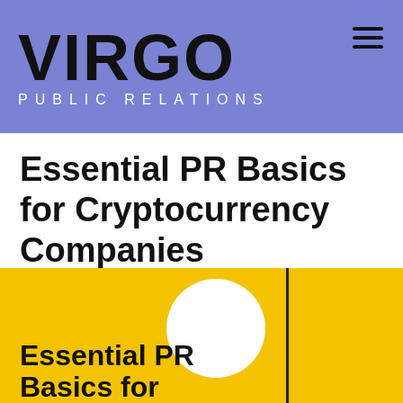[Figure (logo): Virgo Public Relations logo on purple/periwinkle background with hamburger menu icon]
Essential PR Basics for Cryptocurrency Companies
Virgo PR Agency Blog
[Figure (illustration): Yellow background image with white circle graphic and text reading 'Essential PR Basics for...' with a vertical black divider line on the right]